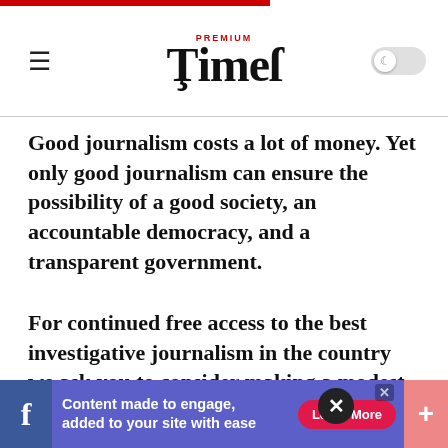PREMIUM Times
Good journalism costs a lot of money. Yet only good journalism can ensure the possibility of a good society, an accountable democracy, and a transparent government.
For continued free access to the best investigative journalism in the country we ask you to consider making a modest support to this noble endeavour.
By contributing to PREMIUM TIMES, you are helping to sustain a journalism of relevance and
[Figure (screenshot): Advertisement banner: blue/purple background with Facebook icon on left, text 'Content made to engage, added to your site with ease', red 'Learn More' button, and pink plus sign on right]